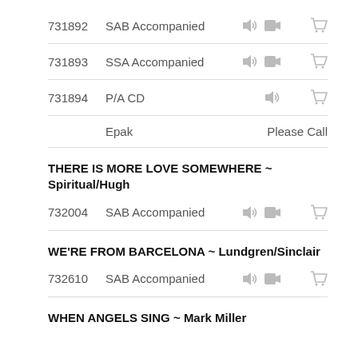| ID | Description | Icons | Action |
| --- | --- | --- | --- |
| 731892 | SAB Accompanied | [sound][video] | [cart] |
| 731893 | SSA Accompanied | [sound][video] | [cart] |
| 731894 | P/A CD | [sound] | [cart] |
|  | Epak |  | Please Call |
THERE IS MORE LOVE SOMEWHERE ~ Spiritual/Hugh
| ID | Description | Icons | Action |
| --- | --- | --- | --- |
| 732004 | SAB Accompanied | [sound][video] | [cart] |
WE'RE FROM BARCELONA ~ Lundgren/Sinclair
| ID | Description | Icons | Action |
| --- | --- | --- | --- |
| 732610 | SAB Accompanied | [sound][video] | [cart] |
WHEN ANGELS SING ~ Mark Miller